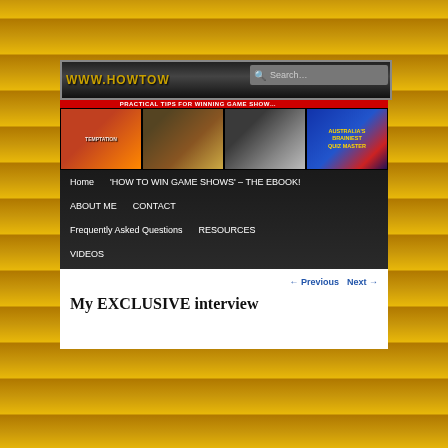www.howtow[...].com — PRACTICAL TIPS FOR WINNING GAME SHOWS — Search box
[Figure (screenshot): Website header with four thumbnail images: Temptation TV show logo, a man handing flowers to someone, a man in suit holding a trophy, and Australia's Brainiest Quiz Master logo]
Home
'HOW TO WIN GAME SHOWS' – THE EBOOK!
ABOUT ME
CONTACT
Frequently Asked Questions
RESOURCES
VIDEOS
← Previous   Next →
My EXCLUSIVE interview